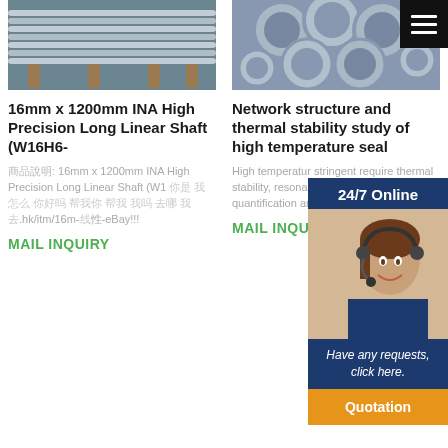[Figure (photo): Photo of aluminium linear shaft/rods laid on wooden supports]
[Figure (photo): Photo of bundled metal pipes/tubes stacked together]
16mm x 1200mm INA High Precision Long Linear Shaft (W16H6-
Network structure and thermal stability study of high temperature seal
商品說明: 16mm x 1200mm INA High Precision Long Linear Shaft (W1 你是 我怎么 你好吗 帮我你 帮我 我吗 去哪 我去.hk/itm/16m-线性-eBay!!!
High temperature stringent require thermal stability, resonance Rama Production of hi quantification an
MAIL INQUIRY
MAIL INQUIR
24/7 Online
[Figure (photo): Customer service representative with headset smiling]
Have any requests, click here.
Quotation